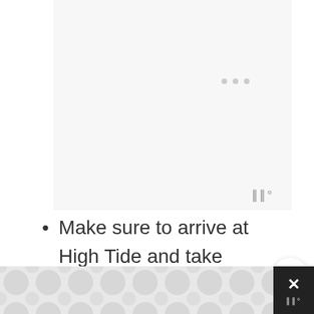[Figure (screenshot): A light gray image placeholder area with three small gray dots near the top center, resembling a loading indicator. A weather/temperature icon appears in the bottom right of the placeholder.]
Make sure to arrive at High Tide and take pictures.
Come back at low tide and
[Figure (screenshot): Bottom bar showing a decorative patterned strip (gray circles/dots pattern on white background), an X close button, and a weather app icon on a dark background.]